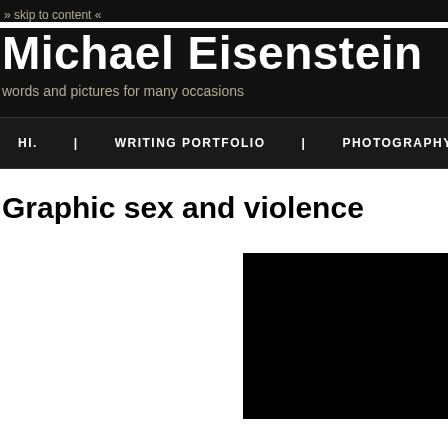» skip to content «
Michael Eisenstein
words and pictures for many occasions
HI. | WRITING PORTFOLIO | PHOTOGRAPHY | AB
Graphic sex and violence
[Figure (photo): Black rectangle image placeholder on right side of page]